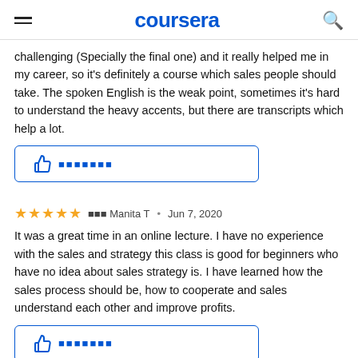coursera
challenging (Specially the final one) and it really helped me in my career, so it's definitely a course which sales people should take. The spoken English is the weak point, sometimes it's hard to understand the heavy accents, but there are transcripts which help a lot.
[Figure (other): Thumbs up helpful button with text (garbled characters)]
⭐⭐⭐⭐⭐ 由由由 Manita T • Jun 7, 2020
It was a great time in an online lecture. I have no experience with the sales and strategy this class is good for beginners who have no idea about sales strategy is. I have learned how the sales process should be, how to cooperate and sales understand each other and improve profits.
[Figure (other): Thumbs up helpful button with text (garbled characters)]